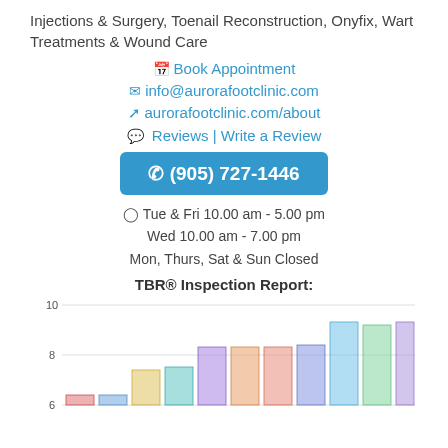Injections & Surgery, Toenail Reconstruction, Onyfix, Wart Treatments & Wound Care
Book Appointment
info@aurorafootclinic.com
aurorafootclinic.com/about
Reviews | Write a Review
(905) 727-1446
Tue & Fri 10.00 am - 5.00 pm
Wed 10.00 am - 7.00 pm
Mon, Thurs, Sat & Sun Closed
TBR® Inspection Report:
[Figure (bar-chart): TBR® Inspection Report]